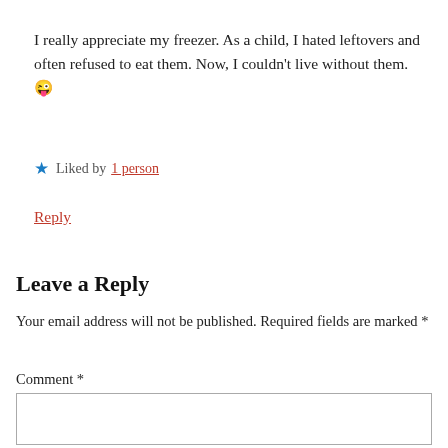I really appreciate my freezer. As a child, I hated leftovers and often refused to eat them. Now, I couldn't live without them. 😜
★ Liked by 1 person
Reply
Leave a Reply
Your email address will not be published. Required fields are marked *
Comment *